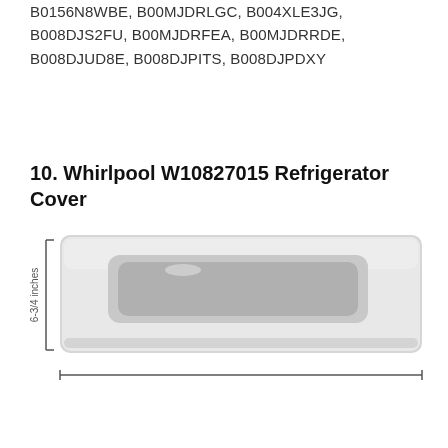B0156N8WBE, B00MJDRLGC, B004XLE3JG, B008DJS2FU, B00MJDRFEA, B00MJDRRDE, B008DJUD8E, B008DJPITS, B008DJPDXY
10. Whirlpool W10827015 Refrigerator Cover
[Figure (photo): Photo of a Whirlpool W10827015 Refrigerator Cover, a long rectangular white/light gray plastic panel with a recessed oval handle area. A dimension bracket on the left indicates 6-3/4 inches height. A scale bar or bottom measurement bracket is shown below.]